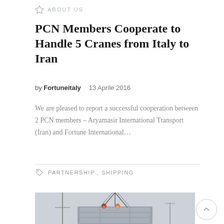ABOUT US
PCN Members Cooperate to Handle 5 Cranes from Italy to Iran
by Fortuneitaly    13 Aprile 2016
We are pleased to report a successful cooperation between 2 PCN members – Aryamasir International Transport (Iran) and Fortune International…
PARTNERSHIP , SHIPPING
[Figure (photo): Photo of a crane lifting a large grey metal structure, with workers in orange vests visible on top. Overcast sky background.]